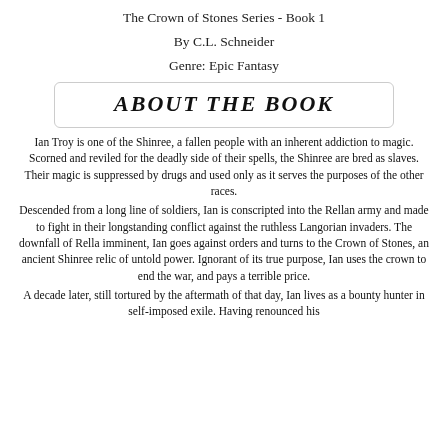The Crown of Stones Series - Book 1
By C.L. Schneider
Genre: Epic Fantasy
About the Book
Ian Troy is one of the Shinree, a fallen people with an inherent addiction to magic. Scorned and reviled for the deadly side of their spells, the Shinree are bred as slaves. Their magic is suppressed by drugs and used only as it serves the purposes of the other races.
Descended from a long line of soldiers, Ian is conscripted into the Rellan army and made to fight in their longstanding conflict against the ruthless Langorian invaders. The downfall of Rella imminent, Ian goes against orders and turns to the Crown of Stones, an ancient Shinree relic of untold power. Ignorant of its true purpose, Ian uses the crown to end the war, and pays a terrible price.
A decade later, still tortured by the aftermath of that day, Ian lives as a bounty hunter in self-imposed exile. Having renounced his